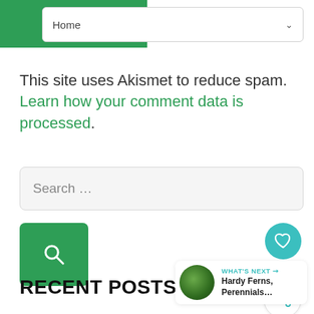[Figure (screenshot): Navigation bar with green block on left and a Home dropdown on the right with a chevron arrow]
This site uses Akismet to reduce spam. Learn how your comment data is processed.
[Figure (screenshot): Search input box with placeholder text 'Search ...']
[Figure (screenshot): Green search button with magnifying glass icon on the left, and a teal heart/like button showing count 1 and a share button on the right]
RECENT POSTS
[Figure (screenshot): What's Next card showing Hardy Ferns, Perennials... with a thumbnail of green ferns]